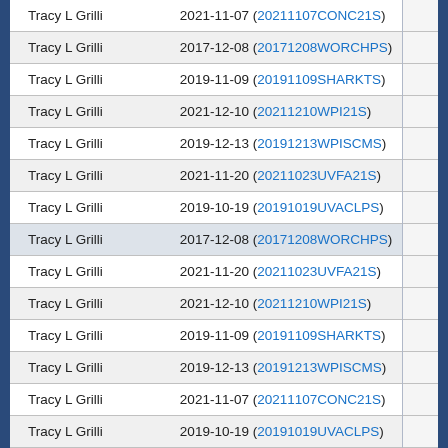| Name | Date (Code) |  |
| --- | --- | --- |
| Tracy L Grilli | 2021-11-07 (20211107CONC21S) |  |
| Tracy L Grilli | 2017-12-08 (20171208WORCHPS) |  |
| Tracy L Grilli | 2019-11-09 (20191109SHARKTS) |  |
| Tracy L Grilli | 2021-12-10 (20211210WPI21S) |  |
| Tracy L Grilli | 2019-12-13 (20191213WPISCMS) |  |
| Tracy L Grilli | 2021-11-20 (20211023UVFA21S) |  |
| Tracy L Grilli | 2019-10-19 (20191019UVACLPS) |  |
| Tracy L Grilli | 2017-12-08 (20171208WORCHPS) |  |
| Tracy L Grilli | 2021-11-20 (20211023UVFA21S) |  |
| Tracy L Grilli | 2021-12-10 (20211210WPI21S) |  |
| Tracy L Grilli | 2019-11-09 (20191109SHARKTS) |  |
| Tracy L Grilli | 2019-12-13 (20191213WPISCMS) |  |
| Tracy L Grilli | 2021-11-07 (20211107CONC21S) |  |
| Tracy L Grilli | 2019-10-19 (20191019UVACLPS) |  |
| Tracy L Grilli | 2017-12-08 (20171208WORCHPS) |  |
| Tracy L Grilli | 2021-12-10 (20211210WPI21S) |  |
| Tracy L Grilli | 2019-12-13 (20191213WPISCMS) |  |
| Tracy L Grilli | 2019-11-09 (20191109SHARKTS) |  |